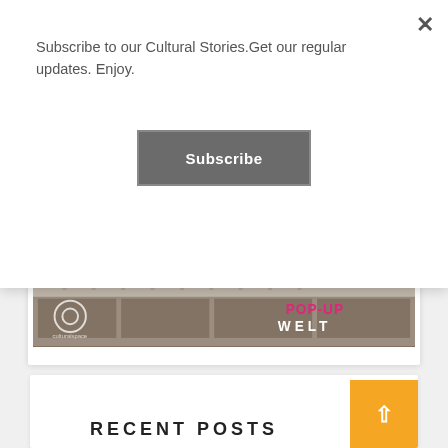Subscribe to our Cultural Stories.Get our regular updates. Enjoy.
Subscribe
[Figure (photo): Black and white historical photograph of a city building/street scene with 'culturalspace' logo bottom-left and 'POP-UP WELT' text overlay bottom-right]
RECENT POSTS